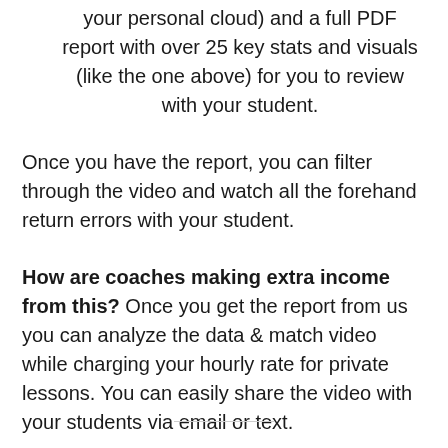your personal cloud) and a full PDF report with over 25 key stats and visuals (like the one above) for you to review with your student.
Once you have the report, you can filter through the video and watch all the forehand return errors with your student.
How are coaches making extra income from this? Once you get the report from us you can analyze the data & match video while charging your hourly rate for private lessons. You can easily share the video with your students via email or text.